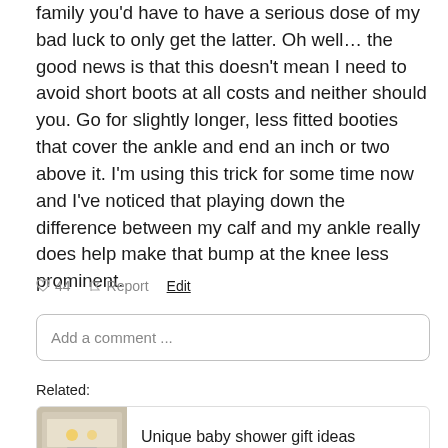family you'd have to have a serious dose of my bad luck to only get the latter. Oh well… the good news is that this doesn't mean I need to avoid short boots at all costs and neither should you. Go for slightly longer, less fitted booties that cover the ankle and end an inch or two above it. I'm using this trick for some time now and I've noticed that playing down the difference between my calf and my ankle really does help make that bump at the knee less prominent.
♥ 44   ⚑ Report   Edit
Add a comment ...
Related:
Unique baby shower gift ideas